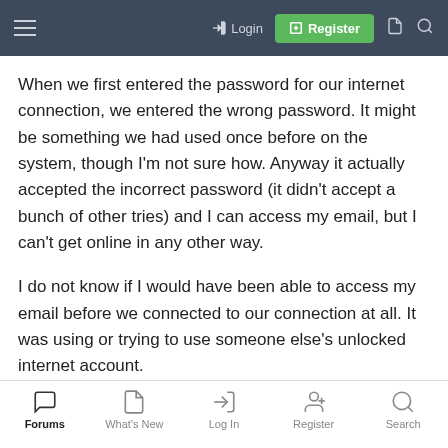Login | Register
When we first entered the password for our internet connection, we entered the wrong password. It might be something we had used once before on the system, though I'm not sure how. Anyway it actually accepted the incorrect password (it didn't accept a bunch of other tries) and I can access my email, but I can't get online in any other way.
I do not know if I would have been able to access my email before we connected to our connection at all. It was using or trying to use someone else's unlocked internet account.
What I need to do is to have it ask me again what the password is for my internet connection. It thinks it knows the right password and it no longer asks for it. It "connects" automatically.
Forums | What's New | Log In | Register | Search